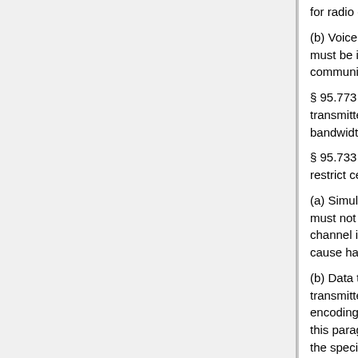for radio control use.
(b) Voice emissions prohibited. RCRS transmitter types must be incapable of transmitting telephony (voice communications).
§ 95.773 RCRS authorized bandwidth. Each RCRS transmitter type must be designed such that the occupied bandwidth does not exceed 8 kHz for any emission type.
§ 95.733 Prohibited RCRS use. The rules in this section restrict certain uses of RCRS transmitters.
(a) Simultaneous use of multiple channels. An RCRS station must not transmit simultaneously on more than one RCRS channel in the 72-76 MHz band when such operation would cause harmful interference to other RCRS operations.
(b) Data transmission. No person shall use a RCRS transmitter to transmit data. Tones or other types of signal encoding are not considered to be data for the purposes of this paragraph, when used only for the purpose of identifying the specific device among multiple